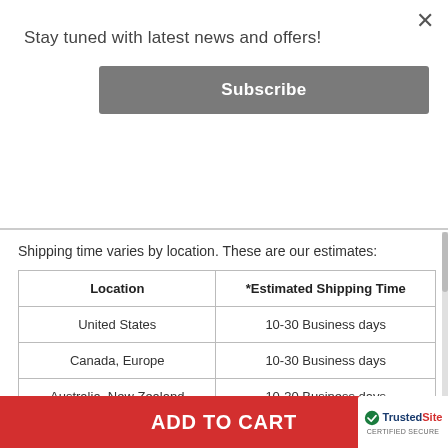Stay tuned with latest news and offers!
Subscribe
Shipping time varies by location. These are our estimates:
| Location | *Estimated Shipping Time |
| --- | --- |
| United States | 10-30 Business days |
| Canada, Europe | 10-30 Business days |
| Australia, New Zealand | 10-30 Business days |
| Central & South America | 15-30 Business days |
| Asia | 10-20 Business days |
ADD TO CART